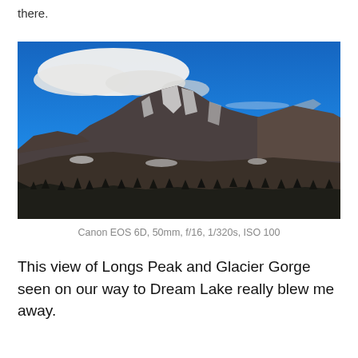there.
[Figure (photo): Mountain landscape showing Longs Peak and Glacier Gorge with snow-covered rocky peaks under a vivid blue sky with a white cloud in the upper left. Dark evergreen trees in the foreground.]
Canon EOS 6D, 50mm, f/16, 1/320s, ISO 100
This view of Longs Peak and Glacier Gorge seen on our way to Dream Lake really blew me away.